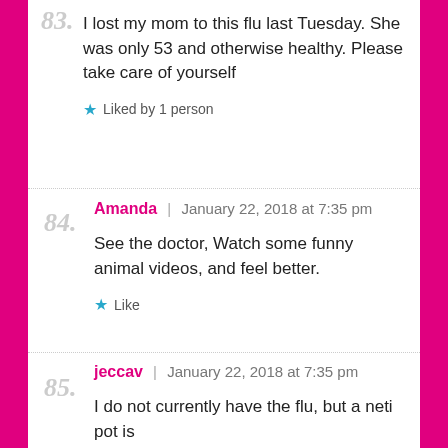83.
I lost my mom to this flu last Tuesday. She was only 53 and otherwise healthy. Please take care of yourself
★ Liked by 1 person
84. Amanda | January 22, 2018 at 7:35 pm
See the doctor, Watch some funny animal videos, and feel better.
★ Like
85. jeccav | January 22, 2018 at 7:35 pm
I do not currently have the flu, but a neti pot is